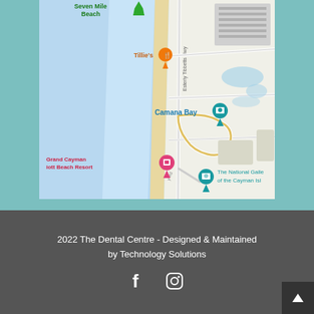[Figure (map): Google Maps screenshot showing Grand Cayman area including Seven Mile Beach, Camana Bay, Tillie's restaurant marker, Grand Cayman Marriott Beach Resort marker, The National Gallery of the Cayman Islands marker, and Esterly Tibbetts Hwy road.]
2022 The Dental Centre - Designed & Maintained by Technology Solutions